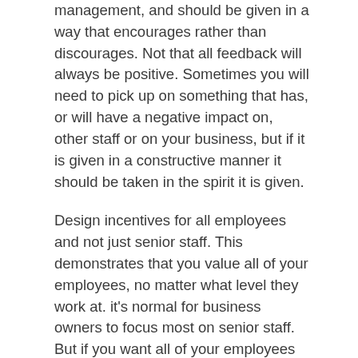management, and should be given in a way that encourages rather than discourages. Not that all feedback will always be positive. Sometimes you will need to pick up on something that has, or will have a negative impact on, other staff or on your business, but if it is given in a constructive manner it should be taken in the spirit it is given.
Design incentives for all employees and not just senior staff. This demonstrates that you value all of your employees, no matter what level they work at. it's normal for business owners to focus most on senior staff. But if you want all of your employees to be committed to the success of the business it won't help maintain a healthy work culture and can create a "them and us" dynamic. This will increase business costs, but a carefully thought through and well-structured staff incentive scheme will help increase productivity.
There will be times when your employees will need more support from you than you might think. Management support in times of need will help foster employee goodwill and loyalty. This can take on